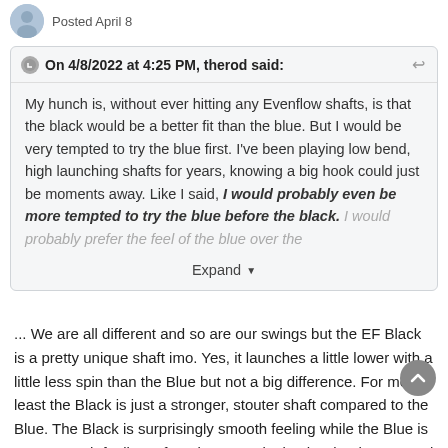Posted April 8
On 4/8/2022 at 4:25 PM, therod said:
My hunch is, without ever hitting any Evenflow shafts, is that the black would be a better fit than the blue. But I would be very tempted to try the blue first. I've been playing low bend, high launching shafts for years, knowing a big hook could just be moments away. Like I said, I would probably even be more tempted to try the blue before the black. I would probably prefer the feel of the blue over the
Expand
... We are all different and so are our swings but the EF Black is a pretty unique shaft imo. Yes, it launches a little lower with a little less spin than the Blue but not a big difference. For me at least the Black is just a stronger, stouter shaft compared to the Blue. The Black is surprisingly smooth feeling while the Blue is very smooth feeling. I found I was swinging harder than normal with